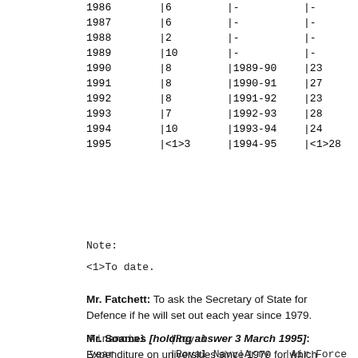| Year | Col2 | Col3 | Col4 |
| --- | --- | --- | --- |
| 1986 | |6 | |- | |- |
| 1987 | |6 | |- | |- |
| 1988 | |2 | |- | |- |
| 1989 | |10 | |- | |- |
| 1990 | |8 | |1989-90 | |23 |
| 1991 | |8 | |1990-91 | |27 |
| 1992 | |8 | |1991-92 | |23 |
| 1993 | |7 | |1992-93 | |28 |
| 1994 | |10 | |1993-94 | |24 |
| 1995 | |<1>3 | |1994-95 | |<1>28 |
Note:
<1>To date.
Mr. Fatchett: To ask the Secretary of State for Defence if he will set out each year since 1979.
Mr. Soames [holding answer 3 March 1995]: Expenditure on universities since 1979 for which figures are available, is as shown in the table:
| Financial year | Royal Navy | Army | Royal Air Force |
| --- | --- | --- | --- |